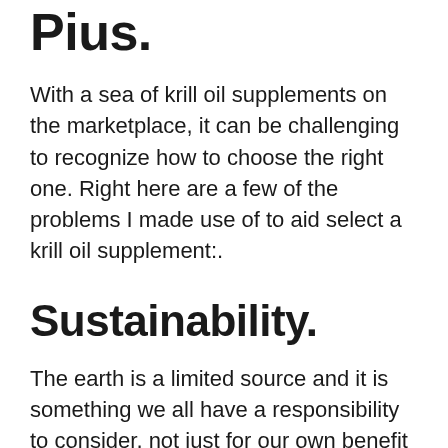Pius.
With a sea of krill oil supplements on the marketplace, it can be challenging to recognize how to choose the right one. Right here are a few of the problems I made use of to aid select a krill oil supplement:.
Sustainability.
The earth is a limited source and it is something we all have a responsibility to consider, not just for our own benefit however, for our kids and grandchildren. Sustainability is especially important for the ocean as our survival depends upon the seas.